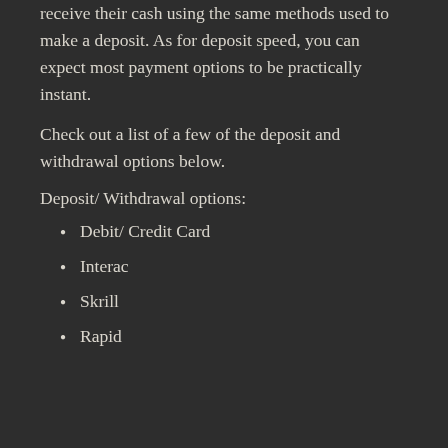receive their cash using the same methods used to make a deposit. As for deposit speed, you can expect most payment options to be practically instant.
Check out a list of a few of the deposit and withdrawal options below.
Deposit/ Withdrawal options:
Debit/ Credit Card
Interac
Skrill
Rapid